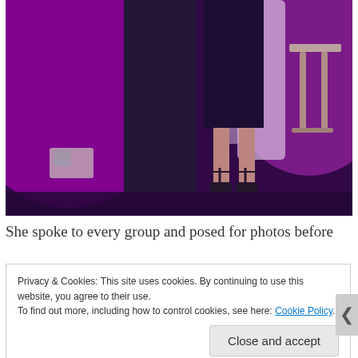[Figure (photo): Event photo showing people standing at what appears to be a party or gala venue with purple/magenta lighting, draped fabric in background, a bar stool visible on right, and two people visible from waist down — one in wide-leg dark trousers and one in a dark skirt with black strappy heels.]
She spoke to every group and posed for photos before
Privacy & Cookies: This site uses cookies. By continuing to use this website, you agree to their use.
To find out more, including how to control cookies, see here: Cookie Policy
Close and accept